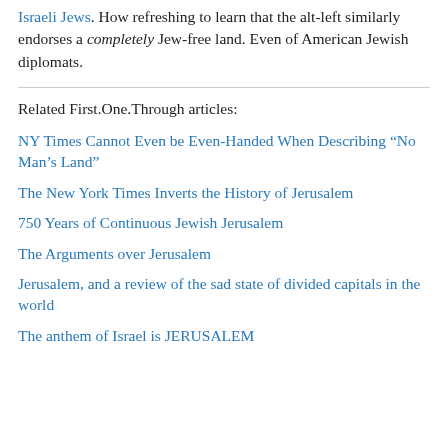Israeli Jews. How refreshing to learn that the alt-left similarly endorses a completely Jew-free land. Even of American Jewish diplomats.
Related First.One.Through articles:
NY Times Cannot Even be Even-Handed When Describing “No Man’s Land”
The New York Times Inverts the History of Jerusalem
750 Years of Continuous Jewish Jerusalem
The Arguments over Jerusalem
Jerusalem, and a review of the sad state of divided capitals in the world
The anthem of Israel is JERUSALEM